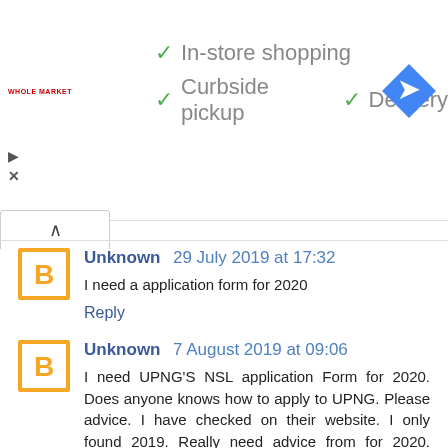[Figure (screenshot): Ad banner showing Whole Foods Market logo and Google Maps direction icon with checkmarks for In-store shopping, Curbside pickup, and Delivery]
Unknown 29 July 2019 at 17:32
I need a application form for 2020
Reply
Unknown 7 August 2019 at 09:06
I need UPNG'S NSL application Form for 2020. Does anyone knows how to apply to UPNG. Please advice. I have checked on their website. I only found 2019. Really need advice from for 2020. Contact via my email; Komabenunigorok@gmail.com
Reply